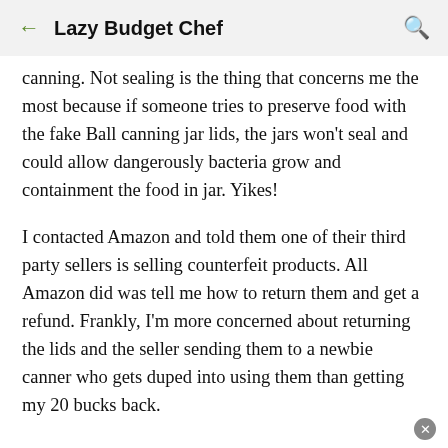← Lazy Budget Chef 🔍
canning. Not sealing is the thing that concerns me the most because if someone tries to preserve food with the fake Ball canning jar lids, the jars won't seal and could allow dangerously bacteria grow and containment the food in jar. Yikes!
I contacted Amazon and told them one of their third party sellers is selling counterfeit products. All Amazon did was tell me how to return them and get a refund. Frankly, I'm more concerned about returning the lids and the seller sending them to a newbie canner who gets duped into using them than getting my 20 bucks back.